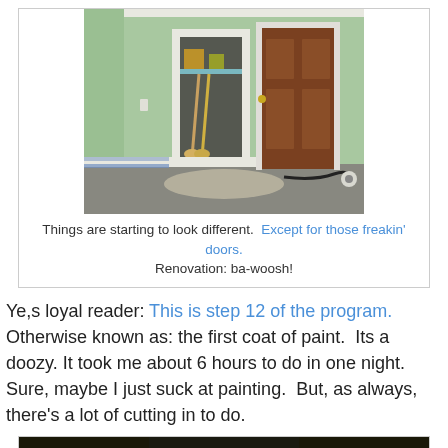[Figure (photo): Interior room photo showing mint green painted walls, an open closet with brooms and supplies inside, and a brown wooden door. The floor is unfinished/under renovation with paint cloths and a cable on the floor.]
Things are starting to look different.  Except for those freakin' doors.
Renovation: ba-woosh!
Ye,s loyal reader: This is step 12 of the program. Otherwise known as: the first coat of paint.  Its a doozy. It took me about 6 hours to do in one night.  Sure, maybe I just suck at painting.  But, as always, there's a lot of cutting in to do.
[Figure (photo): Bottom portion of a second photo, partially visible, showing a bright light source (possibly sun or lamp) at the bottom of the image.]